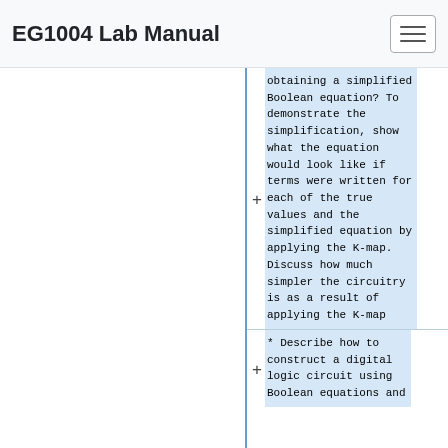EG1004 Lab Manual
obtaining a simplified Boolean equation? To demonstrate the simplification, show what the equation would look like if terms were written for each of the true values and the simplified equation by applying the K-map. Discuss how much simpler the circuitry is as a result of applying the K-map
* Describe how to construct a digital logic circuit using Boolean equations and